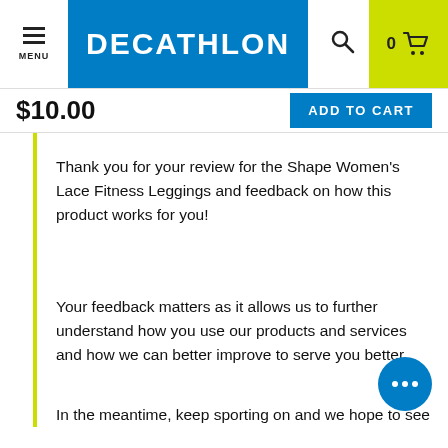MENU | DECATHLON | 0 (cart)
$10.00
ADD TO CART
Thank you for your review for the Shape Women's Lace Fitness Leggings and feedback on how this product works for you!
Your feedback matters as it allows us to further understand how you use our products and services and how we can better improve to serve you better.
In the meantime, keep sporting on and we hope to see